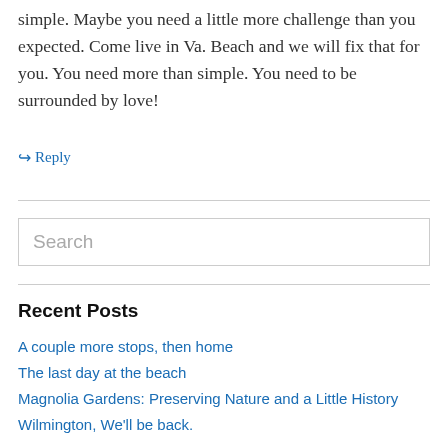simple. Maybe you need a little more challenge than you expected. Come live in Va. Beach and we will fix that for you. You need more than simple. You need to be surrounded by love!
↳ Reply
Search
Recent Posts
A couple more stops, then home
The last day at the beach
Magnolia Gardens: Preserving Nature and a Little History
Wilmington, We'll be back.